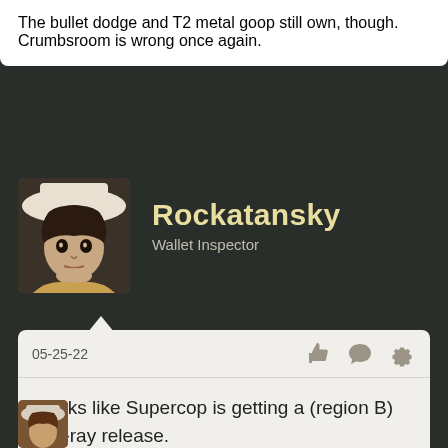The bullet dodge and T2 metal goop still own, though. Crumbsroom is wrong once again.
Rockatansky
Wallet Inspector
05-25-22
Looks like Supercop is getting a (region B) Blu-ray release.